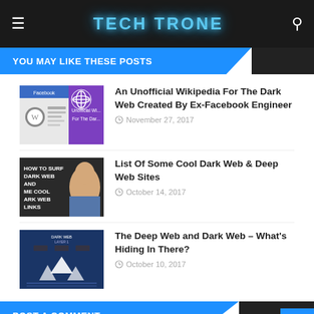TECH TRONE
YOU MAY LIKE THESE POSTS
An Unofficial Wikipedia For The Dark Web Created By Ex-Facebook Engineer
November 27, 2017
List Of Some Cool Dark Web & Deep Web Sites
October 14, 2017
The Deep Web and Dark Web – What's Hiding In There?
October 10, 2017
POST A COMMENT
0 Comments